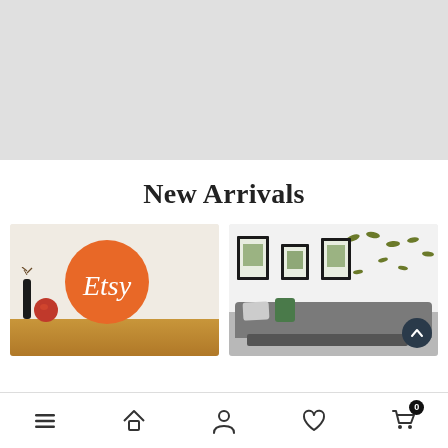[Figure (photo): Large hero banner placeholder area with light gray background]
New Arrivals
[Figure (photo): Etsy product listing image showing a room interior with an orange Etsy logo circle on the wall]
[Figure (photo): Living room with decorative olive green bird wall decals, framed botanical prints, and a gray sofa with pillows]
Navigation bar with menu, home, profile, wishlist, and cart (0) icons